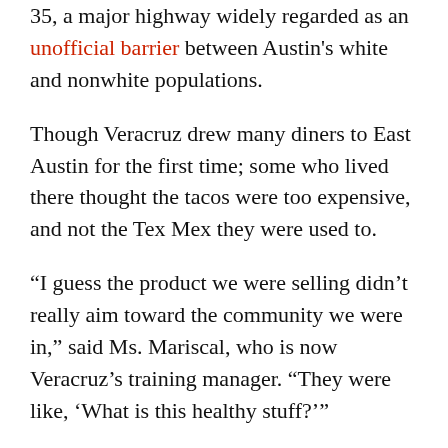35, a major highway widely regarded as an unofficial barrier between Austin's white and nonwhite populations.
Though Veracruz drew many diners to East Austin for the first time; some who lived there thought the tacos were too expensive, and not the Tex Mex they were used to.
“I guess the product we were selling didn’t really aim toward the community we were in,” said Ms. Mariscal, who is now Veracruz’s training manager. “They were like, ‘What is this healthy stuff?’”
In 2012, the sisters were invited to set up a food trailer on East Sixth Street for the South by Southwest festival. Emeril Lagasse, Rachael Ray and other celebrities stopped by and ordered. In 2015, Veracruz All Natural was highlighted on the Food Network show “Top 5 Restaurants.” Their blue trailer with the straw